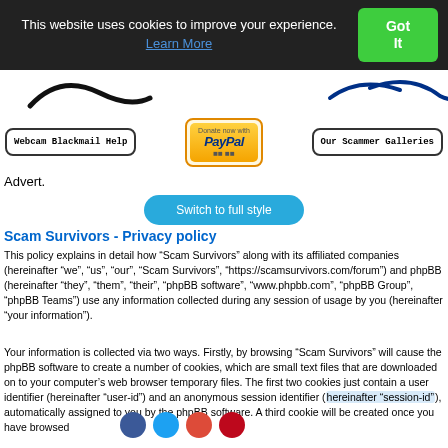This website uses cookies to improve your experience. Learn More
[Figure (screenshot): Cookie consent banner with Got It button]
[Figure (screenshot): Website header with logo (partial, curved text)]
[Figure (screenshot): Navigation buttons: Webcam Blackmail Help, PayPal donate, Our Scammer Galleries]
Advert.
[Figure (screenshot): Switch to full style button]
Scam Survivors - Privacy policy
This policy explains in detail how “Scam Survivors” along with its affiliated companies (hereinafter “we”, “us”, “our”, “Scam Survivors”, “https://scamsurvivors.com/forum”) and phpBB (hereinafter “they”, “them”, “their”, “phpBB software”, “www.phpbb.com”, “phpBB Group”, “phpBB Teams”) use any information collected during any session of usage by you (hereinafter “your information”).
Your information is collected via two ways. Firstly, by browsing “Scam Survivors” will cause the phpBB software to create a number of cookies, which are small text files that are downloaded on to your computer’s web browser temporary files. The first two cookies just contain a user identifier (hereinafter “user-id”) and an anonymous session identifier (hereinafter “session-id”), automatically assigned to you by the phpBB software. A third cookie will be created once you have browsed